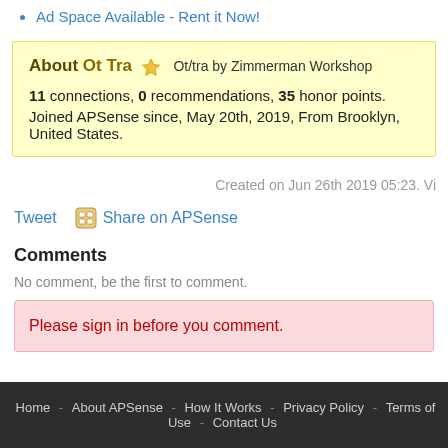Ad Space Available - Rent it Now!
About Ot Tra ★ Ot/tra by Zimmerman Workshop
11 connections, 0 recommendations, 35 honor points.
Joined APSense since, May 20th, 2019, From Brooklyn, United States.
Created on Jun 26th 2019 05:23. Vi
Tweet   Share on APSense
Comments
No comment, be the first to comment.
Please sign in before you comment.
Home - About APSense - How It Works - Privacy Policy - Terms of Use - Contact Us